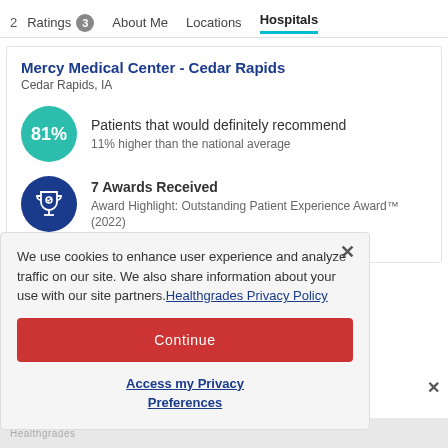2  Ratings 3  About Me  Locations  Hospitals
Mercy Medical Center - Cedar Rapids
Cedar Rapids, IA
81%  Patients that would definitely recommend
11% higher than the national average
7 Awards Received
Award Highlight: Outstanding Patient Experience Award™ (2022)
We use cookies to enhance user experience and analyze traffic on our site. We also share information about your use with our site partners. Healthgrades Privacy Policy
Continue
Access my Privacy Preferences